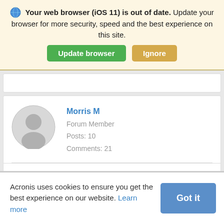Your web browser (iOS 11) is out of date. Update your browser for more security, speed and the best experience on this site. [Update browser] [Ignore]
[Figure (screenshot): Forum user profile card showing avatar placeholder, user name Morris M, Forum Member, Posts: 10, Comments: 21, with an up-arrow below]
Morris M
Forum Member
Posts: 10
Comments: 21
Acronis uses cookies to ensure you get the best experience on our website. Learn more [Got it]